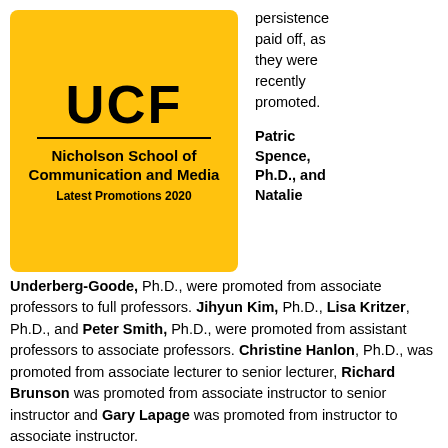[Figure (logo): UCF Nicholson School of Communication and Media - Latest Promotions 2020 logo on yellow background]
persistence paid off, as they were recently promoted.

Patric Spence, Ph.D., and Natalie
Underberg-Goode, Ph.D., were promoted from associate professors to full professors. Jihyun Kim, Ph.D., Lisa Kritzer, Ph.D., and Peter Smith, Ph.D., were promoted from assistant professors to associate professors. Christine Hanlon, Ph.D., was promoted from associate lecturer to senior lecturer, Richard Brunson was promoted from associate instructor to senior instructor and Gary Lapage was promoted from instructor to associate instructor.
Jeffrey Moore, Dean of the College of Arts and Humanities, spoke on the work of some of these faculty members.